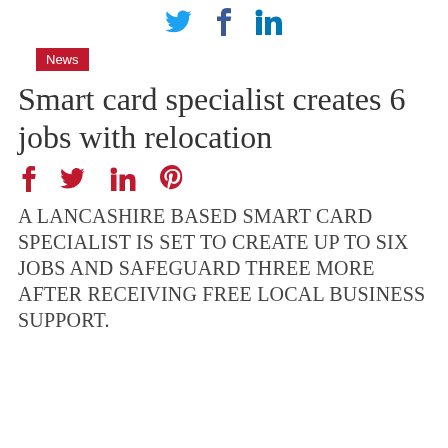[Twitter] [Facebook] [LinkedIn] social share icons
News
Smart card specialist creates 6 jobs with relocation
[Facebook] [Twitter] [LinkedIn] [Pinterest] social share icons
A LANCASHIRE BASED SMART CARD SPECIALIST IS SET TO CREATE UP TO SIX JOBS AND SAFEGUARD THREE MORE AFTER RECEIVING FREE LOCAL BUSINESS SUPPORT.